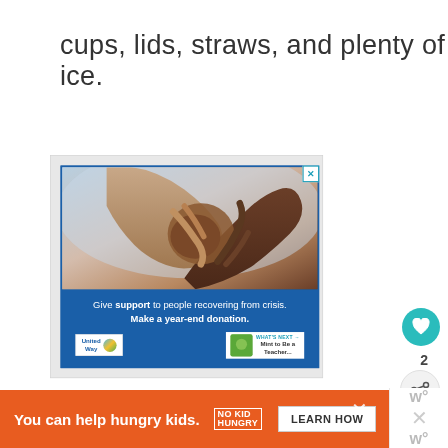cups, lids, straws, and plenty of ice.
[Figure (screenshot): United Way advertisement showing two people holding hands (one light-skinned, one dark-skinned) against a light blue/pink sky background. Below the image text reads: 'Give support to people recovering from crisis. Make a year-end donation.' with United Way logo at bottom.]
[Figure (screenshot): Orange banner advertisement reading 'You can help hungry kids.' with No Kid Hungry logo and a 'LEARN HOW' button.]